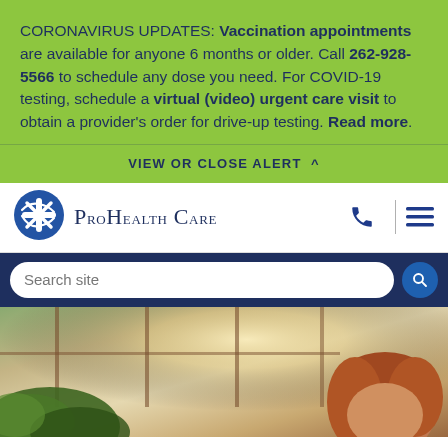CORONAVIRUS UPDATES: Vaccination appointments are available for anyone 6 months or older. Call 262-928-5566 to schedule any dose you need. For COVID-19 testing, schedule a virtual (video) urgent care visit to obtain a provider's order for drive-up testing. Read more.
VIEW OR CLOSE ALERT ^
[Figure (logo): ProHealth Care logo with blue circle and white cross/star icon, followed by brand name 'ProHealth Care' in serif small-caps font]
Search site
[Figure (photo): Background photo showing a person with reddish-brown hair seated near windows with plants in the foreground, warm natural light]